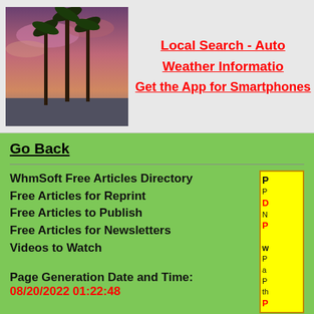[Figure (photo): Palm trees silhouetted against a pink and purple sunset sky]
Local Search - Auto
Weather Information
Get the App for Smartphones
Go Back
WhmSoft Free Articles Directory
Free Articles for Reprint
Free Articles to Publish
Free Articles for Newsletters
Videos to Watch
Page Generation Date and Time:
08/20/2022 01:22:48